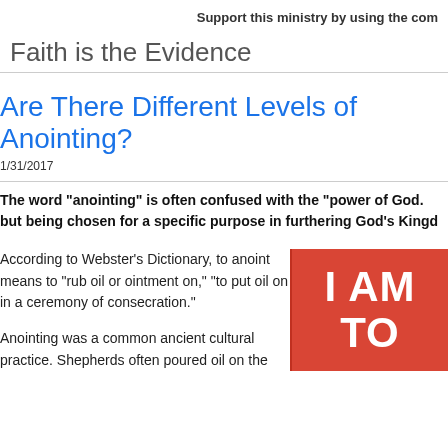Support this ministry by using the com
Faith is the Evidence
Are There Different Levels of Anointing?
1/31/2017
The word "anointing" is often confused with the "power of God." but being chosen for a specific purpose in furthering God's Kingdom
According to Webster's Dictionary, to anoint means to "rub oil or ointment on," "to put oil on in a ceremony of consecration."
Anointing was a common ancient cultural practice. Shepherds often poured oil on the
[Figure (photo): Red background image with white bold text reading 'I AM TO']